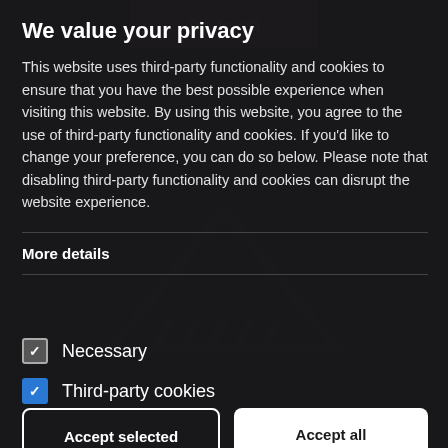[Figure (screenshot): Dark background with a faint 'Tap to call' button at top and a watermark logo in center]
We value your privacy
This website uses third-party functionality and cookies to ensure that you have the best possible experience when visiting this website. By using this website, you agree to the use of third-party functionality and cookies. If you'd like to change your preference, you can do so below. Please note that disabling third-party functionality and cookies can disrupt the website experience.
More details
Necessary
Third-party cookies
Accept selected
Accept all